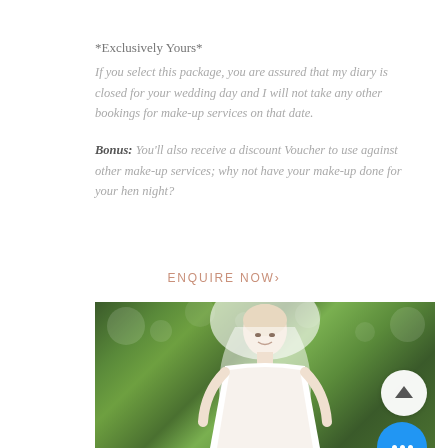*Exclusively Yours*
If you select this package, you are assured that my diary is closed for your wedding day and I will not take any other bookings for make-up services on that date.
Bonus: You'll also receive a discount Voucher to use against other make-up services; why not have your make-up done for your hen night?
ENQUIRE NOW›
[Figure (photo): Bride with blonde hair wearing veil and lace dress, smiling, with green foliage background]